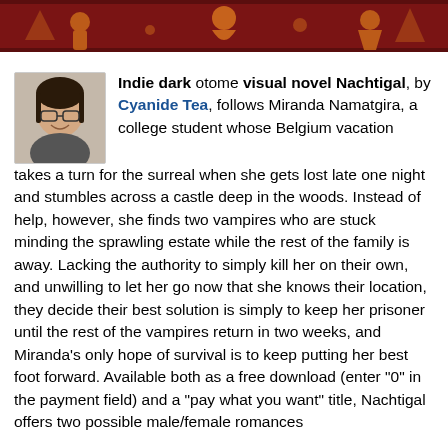[Figure (illustration): Dark red banner with decorative orange/gold silhouette figures on a dark crimson/maroon background]
[Figure (photo): Small circular avatar photo of a person with glasses, smiling, with dark hair]
Indie dark otome visual novel Nachtigal, by Cyanide Tea, follows Miranda Namatgira, a college student whose Belgium vacation takes a turn for the surreal when she gets lost late one night and stumbles across a castle deep in the woods. Instead of help, however, she finds two vampires who are stuck minding the sprawling estate while the rest of the family is away. Lacking the authority to simply kill her on their own, and unwilling to let her go now that she knows their location, they decide their best solution is simply to keep her prisoner until the rest of the vampires return in two weeks, and Miranda's only hope of survival is to keep putting her best foot forward. Available both as a free download (enter "0" in the payment field) and a "pay what you want" title, Nachtigal offers two possible male/female romances